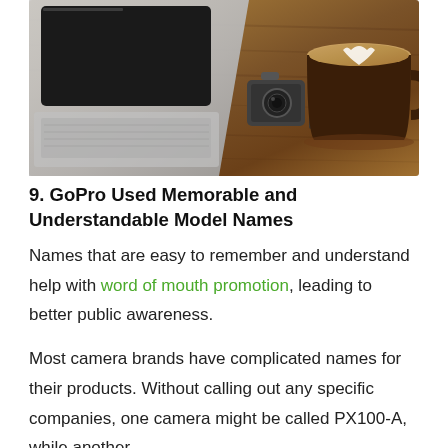[Figure (photo): Photo of a wooden desk with a laptop on the left, a small action camera in the center, and a coffee cup with latte art on the right]
9. GoPro Used Memorable and Understandable Model Names
Names that are easy to remember and understand help with word of mouth promotion, leading to better public awareness.
Most camera brands have complicated names for their products. Without calling out any specific companies, one camera might be called PX100-A, while another